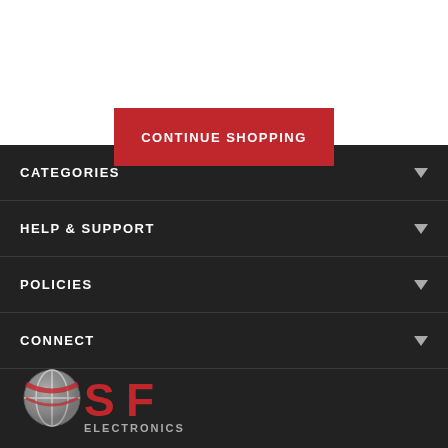[Figure (logo): Red button labeled CONTINUE SHOPPING]
CATEGORIES
HELP & SUPPORT
POLICIES
CONNECT
[Figure (logo): OSF Electronics logo with globe and red SF letters]